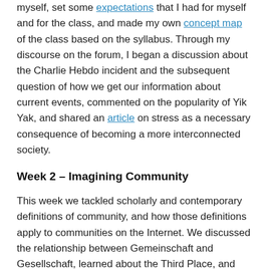myself, set some expectations that I had for myself and for the class, and made my own concept map of the class based on the syllabus. Through my discourse on the forum, I began a discussion about the Charlie Hebdo incident and the subsequent question of how we get our information about current events, commented on the popularity of Yik Yak, and shared an article on stress as a necessary consequence of becoming a more interconnected society.
Week 2 – Imagining Community
This week we tackled scholarly and contemporary definitions of community, and how those definitions apply to communities on the Internet. We discussed the relationship between Gemeinschaft and Gesellschaft, learned about the Third Place, and negotiated the nature of networked individualism, which is becoming more popular than common notions of neighborhood relationships. Michelle led a co-teaching session on reflecting on our own